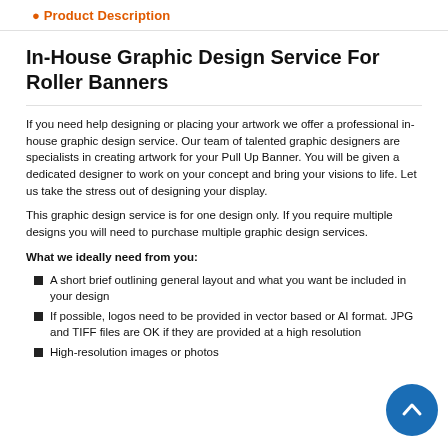Product Description
In-House Graphic Design Service For Roller Banners
If you need help designing or placing your artwork we offer a professional in-house graphic design service. Our team of talented graphic designers are specialists in creating artwork for your Pull Up Banner. You will be given a dedicated designer to work on your concept and bring your visions to life. Let us take the stress out of designing your display.
This graphic design service is for one design only. If you require multiple designs you will need to purchase multiple graphic design services.
What we ideally need from you:
A short brief outlining general layout and what you want be included in your design
If possible, logos need to be provided in vector based or AI format. JPG and TIFF files are OK if they are provided at a high resolution
High-resolution images or photos